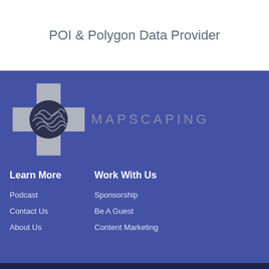POI & Polygon Data Provider
[Figure (logo): Mapscaping logo: a cross-shaped arrangement of grey squares with a topographic map circle in the center, alongside the text MAPSCAPING in grey spaced letters]
Learn More
Podcast
Contact Us
About Us
Work With Us
Sponsorship
Be A Guest
Content Marketing